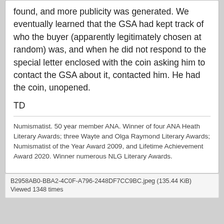found, and more publicity was generated. We eventually learned that the GSA had kept track of who the buyer (apparently legitimately chosen at random) was, and when he did not respond to the special letter enclosed with the coin asking him to contact the GSA about it, contacted him. He had the coin, unopened.
TD
Numismatist. 50 year member ANA. Winner of four ANA Heath Literary Awards; three Wayte and Olga Raymond Literary Awards; Numismatist of the Year Award 2009, and Lifetime Achievement Award 2020. Winner numerous NLG Literary Awards.
B2958AB0-BBA2-4C0F-A796-2448DF7CC9BC.jpeg (135.44 KiB) Viewed 1348 times